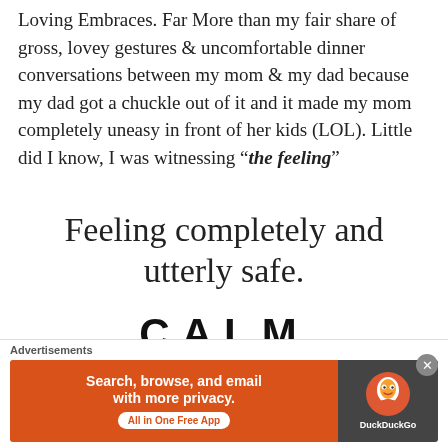Loving Embraces. Far More than my fair share of gross, lovey gestures & uncomfortable dinner conversations between my mom & my dad because my dad got a chuckle out of it and it made my mom completely uneasy in front of her kids (LOL). Little did I know, I was witnessing "the feeling"
Feeling completely and utterly safe.
CALM
I So Wish I could say I felt this alone. I thought I had. I thought I was Goo...
Advertisements
[Figure (other): DuckDuckGo advertisement banner: orange left side with text 'Search, browse, and email with more privacy. All in One Free App', dark right side with DuckDuckGo duck logo]